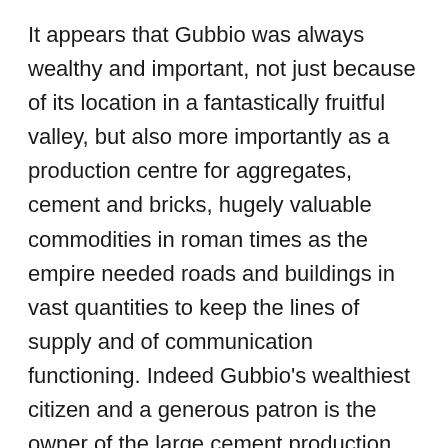It appears that Gubbio was always wealthy and important, not just because of its location in a fantastically fruitful valley, but also more importantly as a production centre for aggregates, cement and bricks, hugely valuable commodities in roman times as the empire needed roads and buildings in vast quantities to keep the lines of supply and of communication functioning. Indeed Gubbio's wealthiest citizen and a generous patron is the owner of the large cement production facility just to the north. The town, I discovered, was built from top to bottom, with the first settlors being the ancient Umbrians, who constructed the initial primitive fortification around their settlement, about halfway up the mountain which forms the backdrop to the town. When the Romans settled the town, they had no need of elaborate fortifications, as the entire area belonged to them anyway and the town spread rapidly